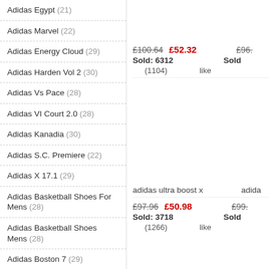Adidas Egypt (21)
Adidas Marvel (22)
Adidas Energy Cloud (29)
Adidas Harden Vol 2 (30)
Adidas Vs Pace (28)
Adidas VI Court 2.0 (28)
Adidas Kanadia (30)
Adidas S.C. Premiere (22)
Adidas X 17.1 (29)
Adidas Basketball Shoes For Mens (28)
Adidas Basketball Shoes Mens (28)
Adidas Boston 7 (29)
Adidas Ultra Boost X (30)
Adidas X Ultra Boost (28)
Adidas Ultra Boost 3.0 (29)
£100.64  £52.32   £96.  Sold: 6312   Sold  (1104)  like
adidas ultra boost x   adida
£97.96  £50.98   £99.  Sold: 3718   Sold  (1266)  like